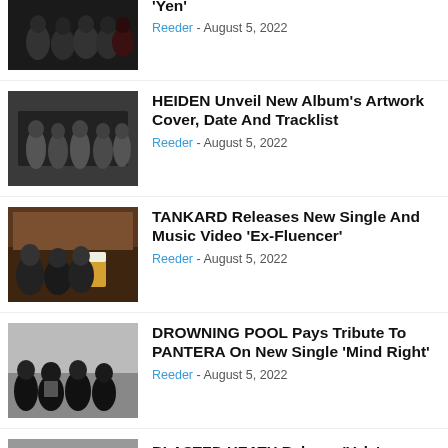[Figure (photo): Band photo (masked group) cropped at top]
'Yen'
Reeder - August 5, 2022
[Figure (photo): Black and white band photo (HEIDEN)]
HEIDEN Unveil New Album's Artwork Cover, Date And Tracklist
Reeder - August 5, 2022
[Figure (photo): Band photo at a bar (TANKARD)]
TANKARD Releases New Single And Music Video 'Ex-Fluencer'
Reeder - August 5, 2022
[Figure (photo): Band photo outdoors (DROWNING POOL)]
DROWNING POOL Pays Tribute To PANTERA On New Single 'Mind Right'
Reeder - August 5, 2022
[Figure (photo): Partial band photo (BLASTED HEATH) at bottom]
BLASTED HEATH Release 'Vels'